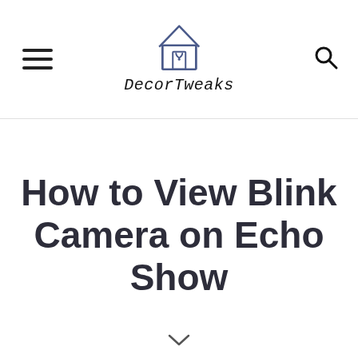DecorTweaks
How to View Blink Camera on Echo Show